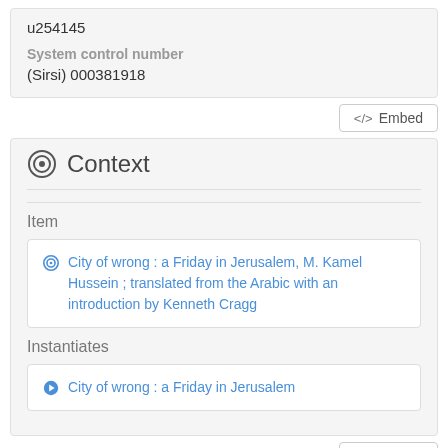u254145
System control number
(Sirsi) 000381918
<> Embed
Context
Item
City of wrong : a Friday in Jerusalem, M. Kamel Hussein ; translated from the Arabic with an introduction by Kenneth Cragg
Instantiates
City of wrong : a Friday in Jerusalem
<> Embed